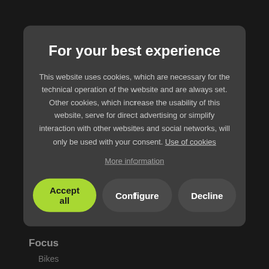Scott
Bikes
Scott Mountainbikes Hardtail
Scott Mountainbikes Fully
Scott Touring
Scott Cross Bikes
Scott ...
Scott ...
Scott K...
E-Bikes
Scott Mountainbikes Hardtail
Scott Mountainbikes Fully
Scott Touring Bikes
Scott Cross ...
Focus
Bikes
Focus Cross Bikes
Focus Road Bikes
For your best experience
This website uses cookies, which are necessary for the technical operation of the website and are always set. Other cookies, which increase the usability of this website, serve for direct advertising or simplify interaction with other websites and social networks, will only be used with your consent. Use of cookies
More information
Accept all | Configure | Decline